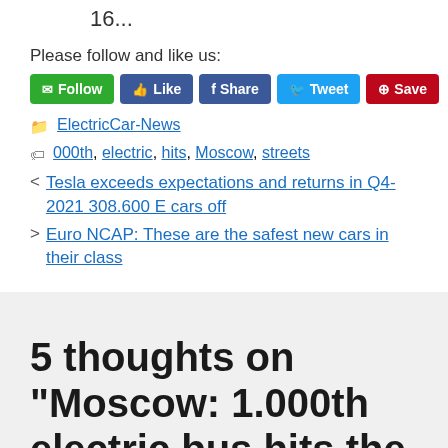16...
Please follow and like us:
[Figure (other): Social media buttons: Follow (green), Like (Facebook blue), Share (Facebook blue), Tweet (Twitter light blue), Save (Pinterest red)]
ElectricCar-News
000th, electric, hits, Moscow, streets
Tesla exceeds expectations and returns in Q4-2021 308.600 E cars off
Euro NCAP: These are the safest new cars in their class
5 thoughts on “Moscow: 1.000th electric bus hits the streets”